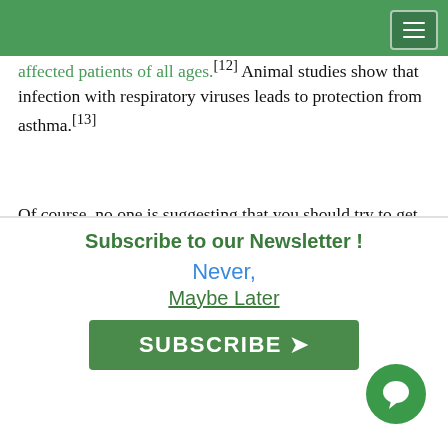expected to affect four billion by 2050... Asthma is a significant factor in this epidemic, with 300 million affected patients of all ages.[12] Animal studies show that infection with respiratory viruses leads to protection from asthma.[13]
Of course, no one is suggesting that you should try to get sick more often. The idea is not to avoid getting sick, but getting sick less often and with less drastic effects, encouraging the immune system to function better and prevent allergic and autoimmune disease. Research studies looking at the influence of infections on our immune system function points to a relationship
Subscribe to our Newsletter !
Never,
Maybe Later
SUBSCRIBE